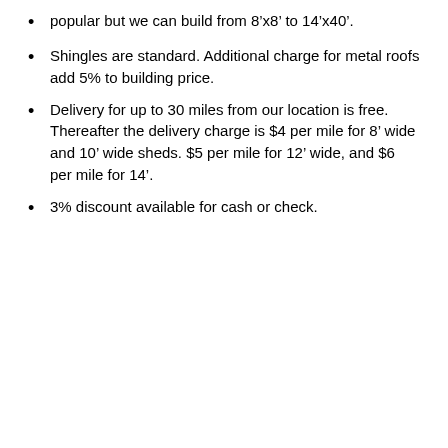popular but we can build from 8’x8’ to 14’x40’.
Shingles are standard. Additional charge for metal roofs add 5% to building price.
Delivery for up to 30 miles from our location is free. Thereafter the delivery charge is $4 per mile for 8’ wide and 10’ wide sheds. $5 per mile for 12’ wide, and $6 per mile for 14’.
3% discount available for cash or check.